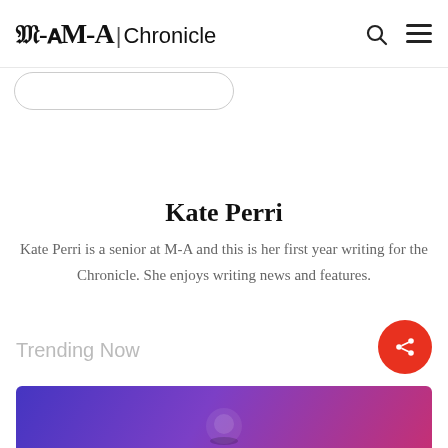M-A Chronicle
Kate Perri
Kate Perri is a senior at M-A and this is her first year writing for the Chronicle. She enjoys writing news and features.
Trending Now
[Figure (photo): Trending Now section with a purple/pink gradient image thumbnail at the bottom of the page]